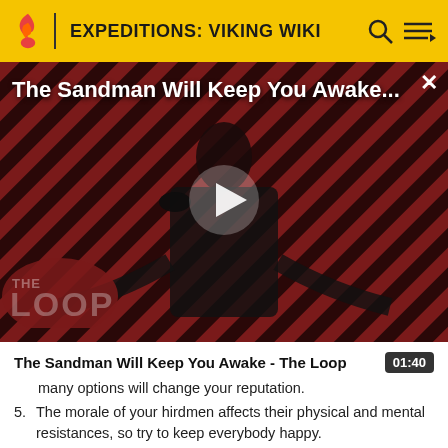EXPEDITIONS: VIKING WIKI
[Figure (screenshot): Video thumbnail showing a dark figure in a black cape against a red and black diagonal striped background. Overlay shows 'The Sandman Will Keep You Awake...' title in white text, a play button in the center, and 'THE LOOP' logo in the lower left. A close (X) button is in upper right.]
The Sandman Will Keep You Awake - The Loop
01:40
many options will change your reputation.
5. The morale of your hirdmen affects their physical and mental resistances, so try to keep everybody happy.
6. When your hirdmen become incapacitated during